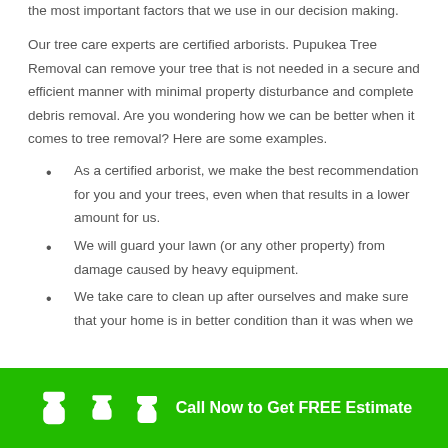the most important factors that we use in our decision making.
Our tree care experts are certified arborists. Pupukea Tree Removal can remove your tree that is not needed in a secure and efficient manner with minimal property disturbance and complete debris removal. Are you wondering how we can be better when it comes to tree removal? Here are some examples.
As a certified arborist, we make the best recommendation for you and your trees, even when that results in a lower amount for us.
We will guard your lawn (or any other property) from damage caused by heavy equipment.
We take care to clean up after ourselves and make sure that your home is in better condition than it was when we
Call Now to Get FREE Estimate